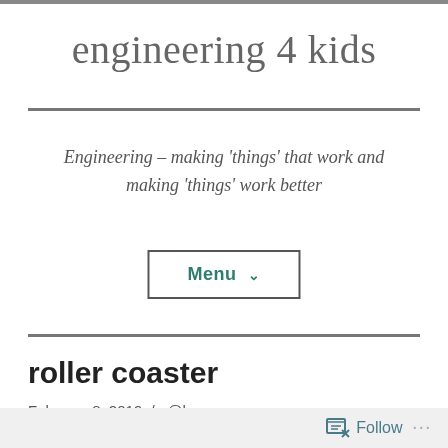engineering 4 kids
Engineering – making 'things' that work and making 'things' work better
Menu ∨
roller coaster
February 8, 2019  /  @home
Follow  ...